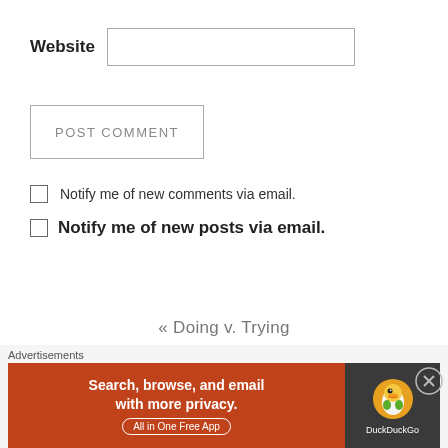Website
POST COMMENT
Notify me of new comments via email.
Notify me of new posts via email.
« Doing v. Trying
Movies and TV shows are PREDICTIVE
Advertisements
[Figure (screenshot): DuckDuckGo advertisement banner: orange left panel with text 'Search, browse, and email with more privacy. All in One Free App' and dark right panel with DuckDuckGo duck logo]